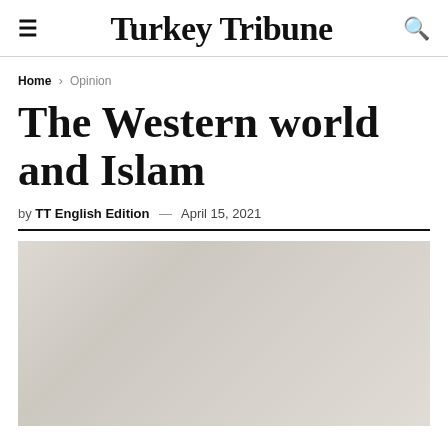Turkey Tribune
Home > Opinion
The Western world and Islam
by TT English Edition — April 15, 2021
[Figure (photo): Article header image, light grey/beige background with faint overlapping text or watermark pattern visible]